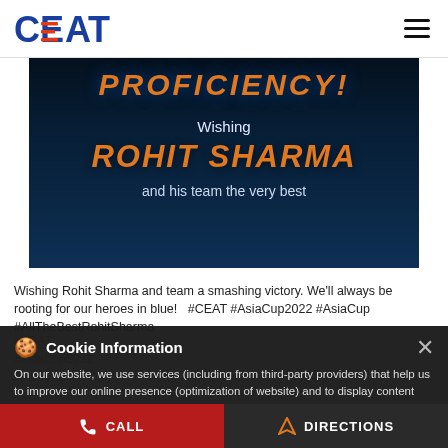CEAT
[Figure (illustration): CEAT branded cricket promotional image with text 'PROFICIENCY! Wishing ROHIT SHARMA and his team the very best' on a dark blue background]
Wishing Rohit Sharma and team a smashing victory. We'll always be rooting for our heroes in blue! 🤍 #CEAT #AsiaCup2022 #AsiaCup #AllTheBestRohitSharma
#CEAT
#AsiaCup2022
#AsiaCup
Cookie Information
On our website, we use services (including from third-party providers) that help us to improve our online presence (optimization of website) and to display content that is geared to their interests. We need your consent before being able to use these services.
Posted On: 28 Aug 2022 4:40 PM
CALL   DIRECTIONS